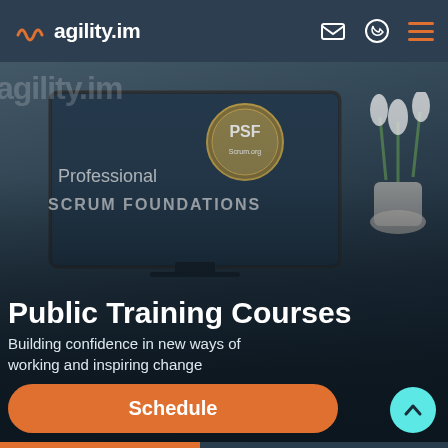agility.im
[Figure (screenshot): Hero image of a computer monitor on a desk displaying 'Professional Scrum Foundations' with a PSF badge, set against a dark overlay with office background]
Public Training Courses
Building confidence in new ways of working and inspiring change
Schedule